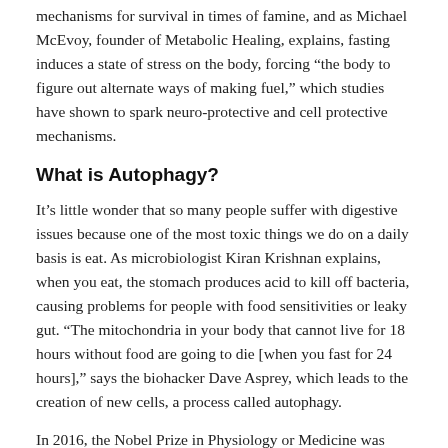mechanisms for survival in times of famine, and as Michael McEvoy, founder of Metabolic Healing, explains, fasting induces a state of stress on the body, forcing “the body to figure out alternate ways of making fuel,” which studies have shown to spark neuro-protective and cell protective mechanisms.
What is Autophagy?
It’s little wonder that so many people suffer with digestive issues because one of the most toxic things we do on a daily basis is eat. As microbiologist Kiran Krishnan explains, when you eat, the stomach produces acid to kill off bacteria, causing problems for people with food sensitivities or leaky gut. “The mitochondria in your body that cannot live for 18 hours without food are going to die [when you fast for 24 hours],” says the biohacker Dave Asprey, which leads to the creation of new cells, a process called autophagy.
In 2016, the Nobel Prize in Physiology or Medicine was awarded to